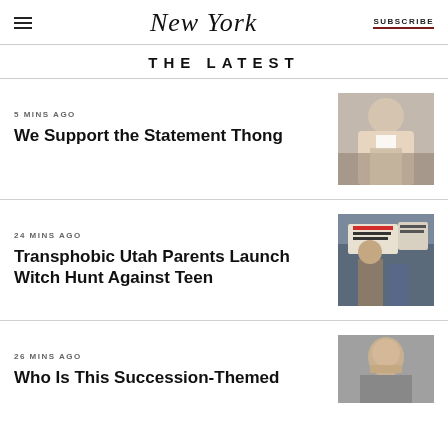NEW YORK | SUBSCRIBE
THE LATEST
5 MINS AGO
We Support the Statement Thong
[Figure (photo): Person exiting a vehicle wearing a white graphic t-shirt and denim shorts]
24 MINS AGO
Transphobic Utah Parents Launch Witch Hunt Against Teen
[Figure (photo): Group of people holding protest signs including one reading 'It's not discrimination, it's biology']
26 MINS AGO
Who Is This Succession-Themed
[Figure (photo): Close-up portrait of a man]